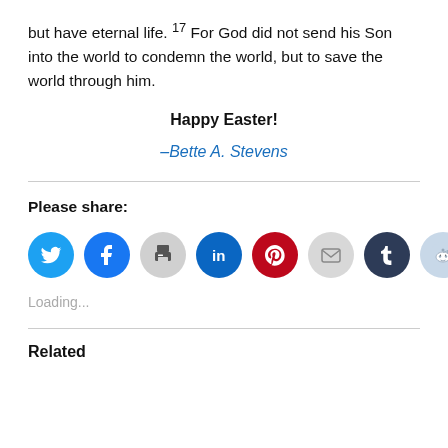but have eternal life. 17 For God did not send his Son into the world to condemn the world, but to save the world through him.
Happy Easter!
–Bette A. Stevens
Please share:
[Figure (infographic): Row of 8 circular social sharing icons: Twitter (blue), Facebook (blue), Print (grey), LinkedIn (dark blue), Pinterest (red), Email (light grey), Tumblr (dark navy), Reddit (light blue)]
Loading...
Related